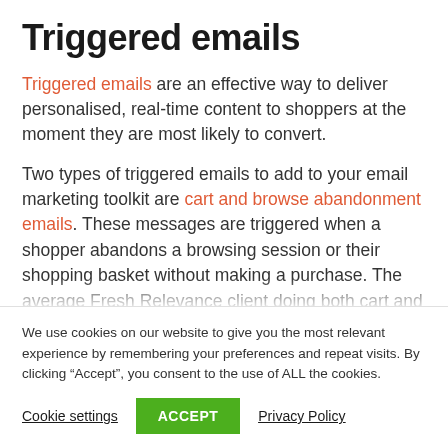Triggered emails
Triggered emails are an effective way to deliver personalised, real-time content to shoppers at the moment they are most likely to convert.
Two types of triggered emails to add to your email marketing toolkit are cart and browse abandonment emails. These messages are triggered when a shopper abandons a browsing session or their shopping basket without making a purchase. The average Fresh Relevance client doing both cart and
We use cookies on our website to give you the most relevant experience by remembering your preferences and repeat visits. By clicking “Accept”, you consent to the use of ALL the cookies.
Cookie settings  ACCEPT  Privacy Policy